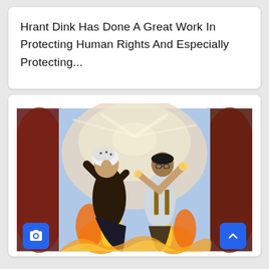Hrant Dink Has Done A Great Work In Protecting Human Rights And Especially Protecting...
[Figure (illustration): An illustration showing two figures surrounded by flames and light, with a white/gray background. One figure wears a headscarf and dark clothing, looking upward; the other wears a light shirt and suspenders, also looking upward with hands raised. Warm orange and yellow fire colors dominate. The sides show blurred dark reddish blobs.]